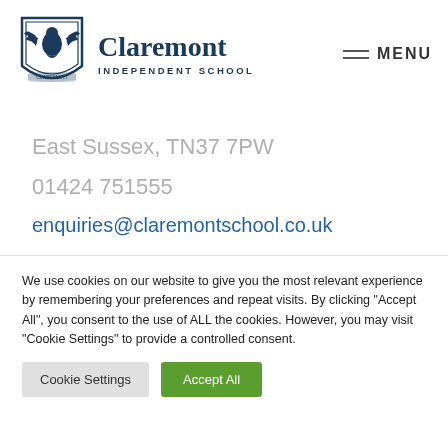[Figure (logo): Claremont Independent School shield logo with eagle and banner]
Claremont
INDEPENDENT SCHOOL
MENU
East Sussex, TN37 7PW
01424 751555
enquiries@claremontschool.co.uk
We use cookies on our website to give you the most relevant experience by remembering your preferences and repeat visits. By clicking "Accept All", you consent to the use of ALL the cookies. However, you may visit "Cookie Settings" to provide a controlled consent.
Cookie Settings
Accept All